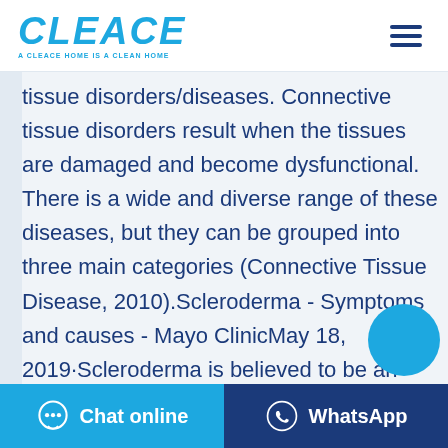CLEACE - A CLEACE HOME IS A CLEAN HOME
tissue disorders/diseases. Connective tissue disorders result when the tissues are damaged and become dysfunctional. There is a wide and diverse range of these diseases, but they can be grouped into three main categories (Connective Tissue Disease, 2010).Scleroderma - Symptoms and causes - Mayo ClinicMay 18, 2019·Scleroderma is believed to be an autoimmune disease. This means that it occurs in part because the body's
Chat online | WhatsApp